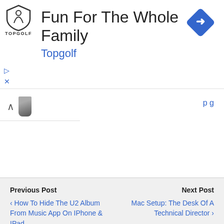[Figure (other): Topgolf advertisement banner with shield logo, text 'Fun For The Whole Family', subtitle 'Topgolf', and blue diamond navigation icon on the right]
[Figure (other): Partial view of an image with an upward caret icon and a dark curved shape, cut off at top of nav section]
Previous Post
‹ How To Hide The U2 Album From Music App On IPhone & IPad
Next Post
Mac Setup: The Desk Of A Technical Director ›
7 responses
Wshimaker
September 14, 2014
How about the rest of the wallopapers from iOS 8? Can we get the full complete pack?
Reply